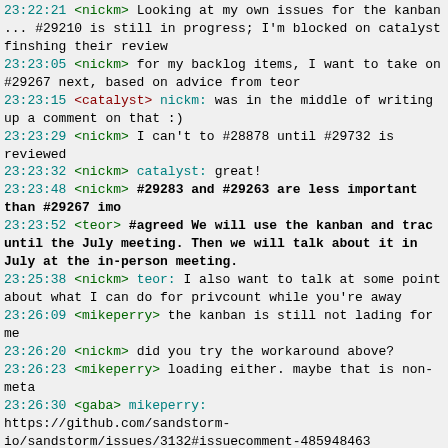23:22:21 <nickm> Looking at my own issues for the kanban ... #29210 is still in progress; I'm blocked on catalyst finshing their review
23:23:05 <nickm> for my backlog items, I want to take on #29267 next, based on advice from teor
23:23:15 <catalyst> nickm: was in the middle of writing up a comment on that :)
23:23:29 <nickm> I can't to #28878 until #29732 is reviewed
23:23:32 <nickm> catalyst: great!
23:23:48 <nickm> #29283 and #29263 are less important than #29267 imo
23:23:52 <teor> #agreed We will use the kanban and trac until the July meeting. Then we will talk about it in July at the in-person meeting.
23:25:38 <nickm> teor: I also want to talk at some point about what I can do for privcount while you're away
23:26:09 <mikeperry> the kanban is still not lading for me
23:26:20 <nickm> did you try the workaround above?
23:26:23 <mikeperry> loading either. maybe that is non-meta
23:26:30 <gaba> mikeperry: https://github.com/sandstorm-io/sandstorm/issues/3132#issuecomment-485948463
23:26:43 <nickm> (click on "all boards"; then click on the roadmap)
23:27:35 <teor> nickm: ok, we have a lot to talk about. let's try to start handovers earlier next time